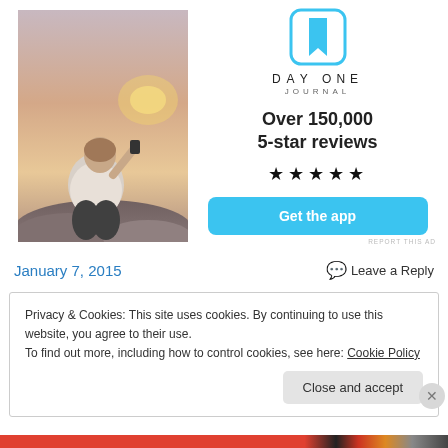[Figure (photo): Advertisement for Day One Journal app. Left side shows a photo of a person sitting on rocks photographing a sunset. Right side shows the Day One Journal logo (bookmark icon), brand name, 5-star rating text, star icons, and a 'Get the app' button.]
REPORT THIS AD
January 7, 2015
Leave a Reply
Privacy & Cookies: This site uses cookies. By continuing to use this website, you agree to their use.
To find out more, including how to control cookies, see here: Cookie Policy
Close and accept